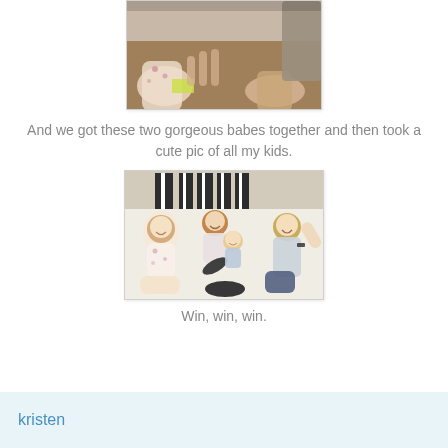[Figure (photo): Close-up overhead photo of children's hands on a wooden table, one child in floral dress]
And we got these two gorgeous babes together and then took a cute pic of all my kids.
[Figure (photo): Four children sitting on a white couch smiling, including a toddler holding a shoe]
Win, win, win.
kristen